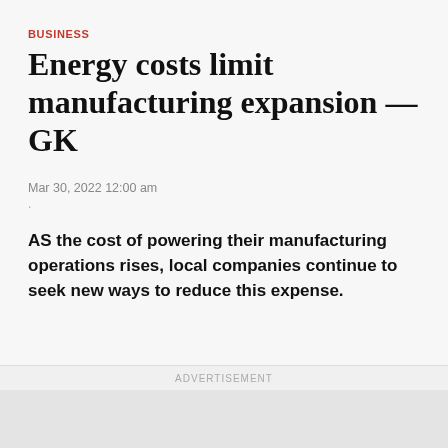BUSINESS
Energy costs limit manufacturing expansion — GK
Mar 30, 2022 12:00 am
.
AS the cost of powering their manufacturing operations rises, local companies continue to seek new ways to reduce this expense.
ADVERTISEMENT